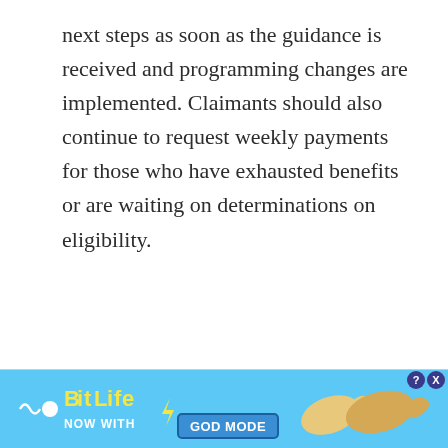next steps as soon as the guidance is received and programming changes are implemented. Claimants should also continue to request weekly payments for those who have exhausted benefits or are waiting on determinations on eligibility.
[Figure (other): BitLife advertisement banner with blue background, BitLife logo in yellow text, 'NOW WITH GOD MODE' button, lightning bolt graphic, and hand pointing finger illustration. Close (X) and help (?) buttons in top right.]